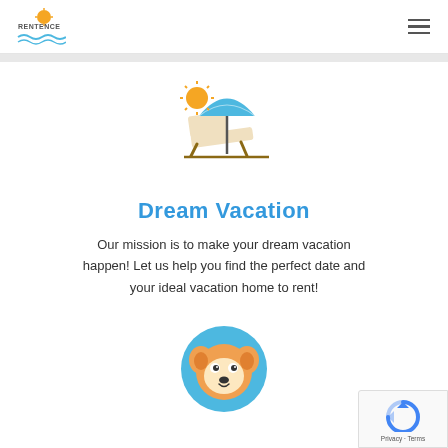RENTENCE [logo] [hamburger menu]
[Figure (illustration): Beach vacation icon: lounge chair with sun and umbrella]
Dream Vacation
Our mission is to make your dream vacation happen! Let us help you find the perfect date and your ideal vacation home to rent!
[Figure (illustration): Corgi dog face icon in a blue circle]
[Figure (logo): Google reCAPTCHA badge with Privacy and Terms links]